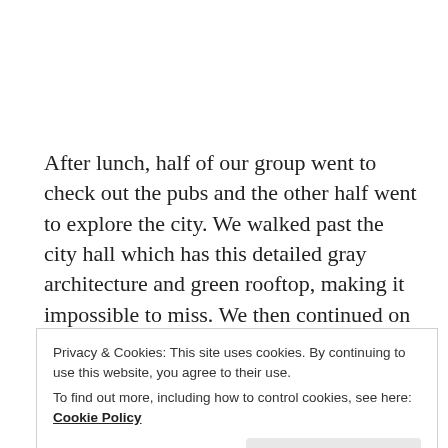After lunch, half of our group went to check out the pubs and the other half went to explore the city. We walked past the city hall which has this detailed gray architecture and green rooftop, making it impossible to miss. We then continued on to Victoria's Square, which is the main shopping center, and went in some stores. From there, most of the group decided to go back to the hotel to nap, but my three friends and I decided we wanted to take
Privacy & Cookies: This site uses cookies. By continuing to use this website, you agree to their use.
To find out more, including how to control cookies, see here: Cookie Policy
Close and accept